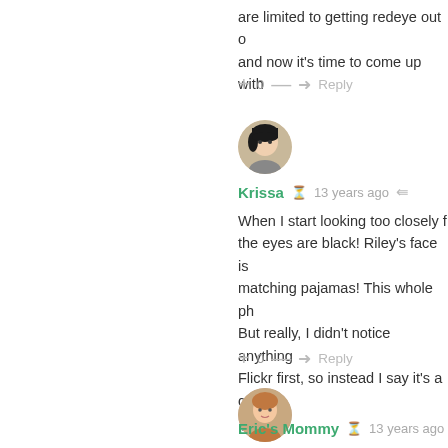are limited to getting redeye out of and now it's time to come up with
+ 0 — → Reply
[Figure (photo): User avatar for Krissa - circular profile photo of a woman with dark hair]
Krissa  13 years ago  share
When I start looking too closely f the eyes are black! Riley's face is matching pajamas! This whole ph But really, I didn't notice anything Flickr first, so instead I say it's a c :)
+ 0 — → Reply
[Figure (photo): User avatar for Eric's Mommy - circular profile photo of a woman]
Eric's Mommy  13 years ago